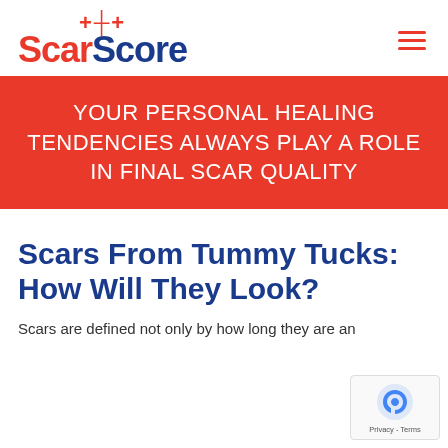[Figure (logo): ScarScore logo with red 'Scar' text and blue 'Score' text, red cross/plus symbol above]
[Figure (other): Hamburger menu icon with three red horizontal lines]
YOUR PERSONAL HEALING TENDENCIES ALWAYS PLAY A ROLE IN FINAL SCAR QUALITY
Scars From Tummy Tucks: How Will They Look?
Scars are defined not only by how long they are an